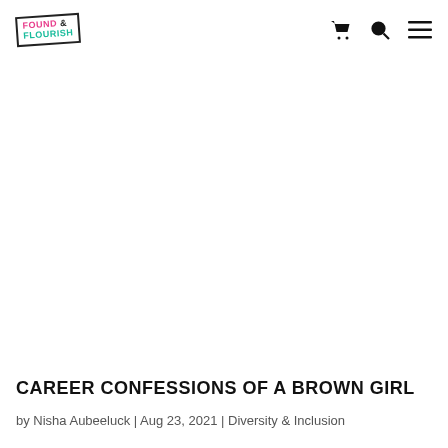FOUND & FLOURISH — navigation header with cart, search, and menu icons
CAREER CONFESSIONS OF A BROWN GIRL
by Nisha Aubeeluck | Aug 23, 2021 | Diversity & Inclusion